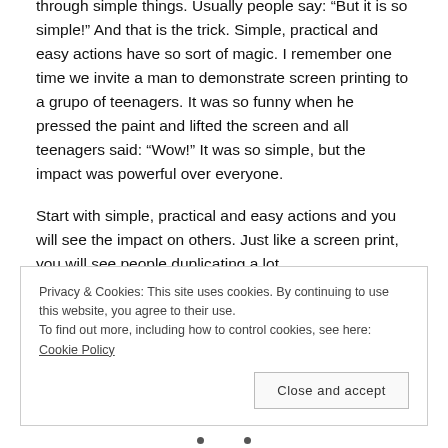through simple things. Usually people say: "But it is so simple!" And that is the trick. Simple, practical and easy actions have so sort of magic. I remember one time we invite a man to demonstrate screen printing to a grupo of teenagers. It was so funny when he pressed the paint and lifted the screen and all teenagers said: "Wow!" It was so simple, but the impact was powerful over everyone.
Start with simple, practical and easy actions and you will see the impact on others. Just like a screen print, you will see people duplicating a lot.
Privacy & Cookies: This site uses cookies. By continuing to use this website, you agree to their use.
To find out more, including how to control cookies, see here: Cookie Policy